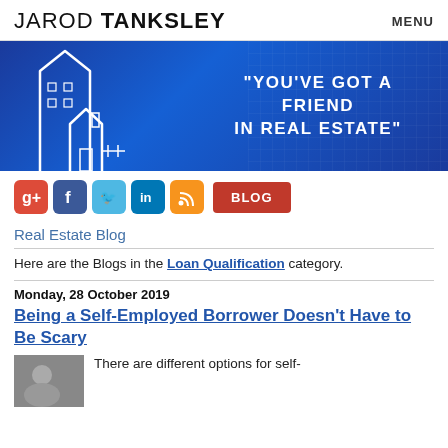JAROD TANKSLEY  MENU
[Figure (illustration): Blue banner with white outline of buildings and house on left, and text "YOU'VE GOT A FRIEND IN REAL ESTATE" on right, blue gradient background with faint grid overlay]
[Figure (infographic): Social media icon buttons: Google+, Facebook, Twitter, LinkedIn, RSS feed, and a red BLOG button]
Real Estate Blog
Here are the Blogs in the Loan Qualification category.
Monday, 28 October 2019
Being a Self-Employed Borrower Doesn't Have to Be Scary
There are different options for self-